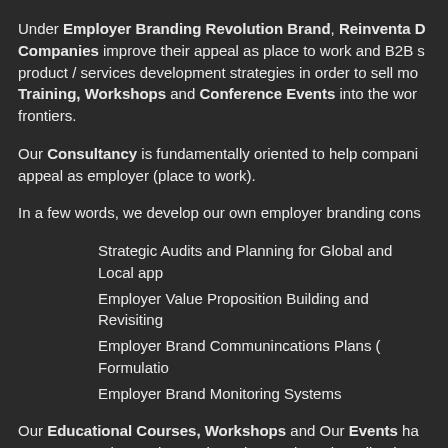Under Employer Branding Revolution Brand, Reinventa D... Companies improve their appeal as place to work and B2B s... product / services development strategies in order to sell mo... Training, Workshops and Conference Events into the wor... frontiers.
Our Consultancy is fundamentally oriented to help compani... appeal as employer (place to work).
In a few words, we develop our own employer branding cons...
Strategic Audits and Planning for Global and Local app...
Employer Value Proposition Building and Revisiting
Employer Brand Communincations Plans ( Formulatio...
Employer Brand Monitoring Systems
Our Educational Courses, Workshops and Our Events ha... managers and consultants about the employer branding issu... necessary and vital skills to develop with effectiveness their d...
To simply reach these goals, The Employer Branding Revo... international experts, managers, consultants and specialists...